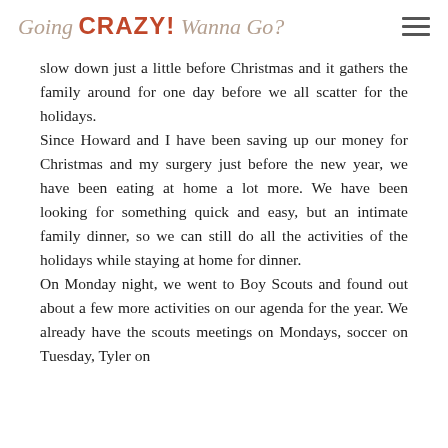Going CRAZY! Wanna Go?
slow down just a little before Christmas and it gathers the family around for one day before we all scatter for the holidays.
Since Howard and I have been saving up our money for Christmas and my surgery just before the new year, we have been eating at home a lot more. We have been looking for something quick and easy, but an intimate family dinner, so we can still do all the activities of the holidays while staying at home for dinner.
On Monday night, we went to Boy Scouts and found out about a few more activities on our agenda for the year. We already have the scouts meetings on Mondays, soccer on Tuesday, Tyler on